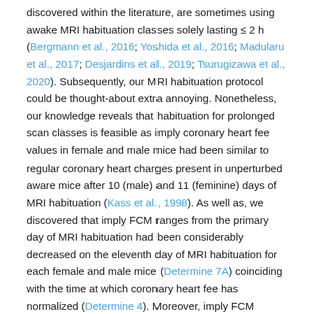discovered within the literature, are sometimes using awake MRI habituation classes solely lasting ≤ 2 h (Bergmann et al., 2016; Yoshida et al., 2016; Madularu et al., 2017; Desjardins et al., 2019; Tsurugizawa et al., 2020). Subsequently, our MRI habituation protocol could be thought-about extra annoying. Nonetheless, our knowledge reveals that habituation for prolonged scan classes is feasible as imply coronary heart fee values in female and male mice had been similar to regular coronary heart charges present in unperturbed aware mice after 10 (male) and 11 (feminine) days of MRI habituation (Kass et al., 1998). As well as, we discovered that imply FCM ranges from the primary day of MRI habituation had been considerably decreased on the eleventh day of MRI habituation for each female and male mice (Determine 7A) coinciding with the time at which coronary heart fee has normalized (Determine 4). Moreover, imply FCM concentrations for each female and male on the final day of MRI habituation seem beneath that of pre dealing with